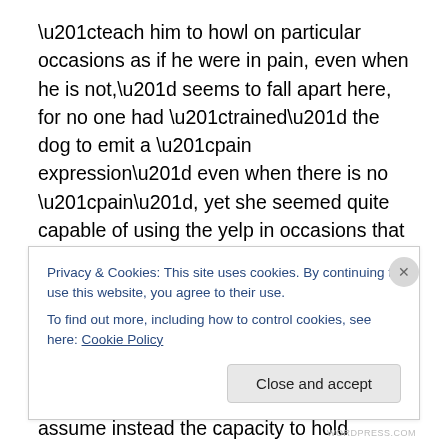“teach him to howl on particular occasions as if he were in pain, even when he is not,” seems to fall apart here, for no one had “trained” the dog to emit a “pain expression” even when there is no “pain”, yet she seemed quite capable of using the yelp in occasions that don’t seem to suit them in any simplified yelp = pain expression interpretation. In fact, if we turn around Wittgenstein’s self-question, “And on what experience is our assumption based?”, and we assume instead the capacity to hold pretenses on the part of the dog, the experiences that supported our interpretation of the first yelp seem quite divergent from
Privacy & Cookies: This site uses cookies. By continuing to use this website, you agree to their use.
To find out more, including how to control cookies, see here: Cookie Policy